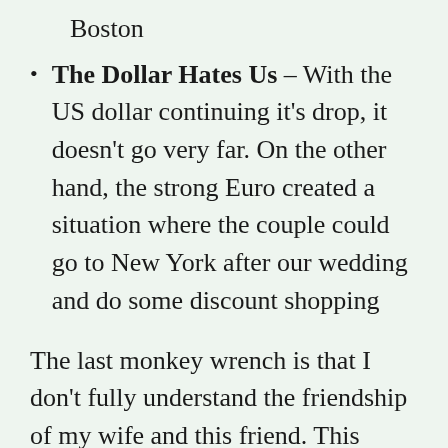Boston
The Dollar Hates Us – With the US dollar continuing it's drop, it doesn't go very far. On the other hand, the strong Euro created a situation where the couple could go to New York after our wedding and do some discount shopping
The last monkey wrench is that I don't fully understand the friendship of my wife and this friend. This friend met my wife through a foreign exchange program 15 years ago. They stay in touch with an